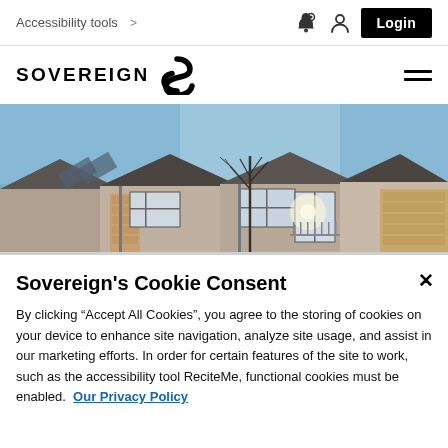Accessibility tools > [bell icon] [person icon] Login
[Figure (logo): Sovereign housing association logo with stylized S icon and hamburger menu]
[Figure (photo): Row of modern residential houses with solar panels, wood cladding, and balconies under a blue sky with bare winter tree]
Sovereign's Cookie Consent
By clicking "Accept All Cookies", you agree to the storing of cookies on your device to enhance site navigation, analyze site usage, and assist in our marketing efforts. In order for certain features of the site to work, such as the accessibility tool ReciteMe, functional cookies must be enabled.  Our Privacy Policy